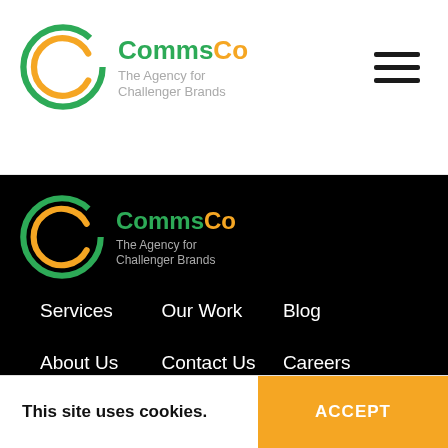CommsCo — The Agency for Challenger Brands (header logo + hamburger menu)
[Figure (logo): CommsCo logo in header — circular C mark with green outer ring and orange inner C, with text CommsCo and tagline The Agency for Challenger Brands]
[Figure (logo): CommsCo logo in dark nav section — same circular C mark with green outer ring and orange inner C, with text CommsCo and tagline The Agency for Challenger Brands]
Services
Our Work
Blog
About Us
Contact Us
Careers
This site uses cookies.
ACCEPT